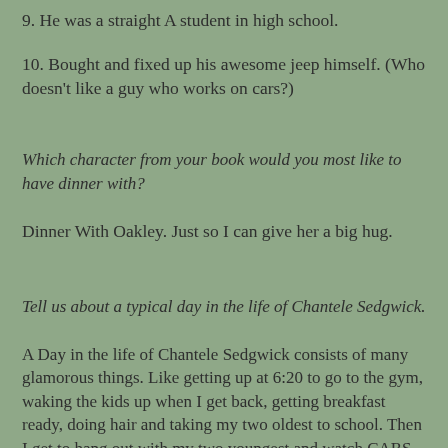9. He was a straight A student in high school.
10. Bought and fixed up his awesome jeep himself. (Who doesn't like a guy who works on cars?)
Which character from your book would you most like to have dinner with?
Dinner With Oakley. Just so I can give her a big hug.
Tell us about a typical day in the life of Chantele Sedgwick.
A Day in the life of Chantele Sedgwick consists of many glamorous things. Like getting up at 6:20 to go to the gym, waking the kids up when I get back, getting breakfast ready, doing hair and taking my two oldest to school. Then I get to hang out with my two youngest and watch CARS and EVER AFTER HIGH at least once a day each. I try to squeeze in a shower at some point, do mountains of laundry, make